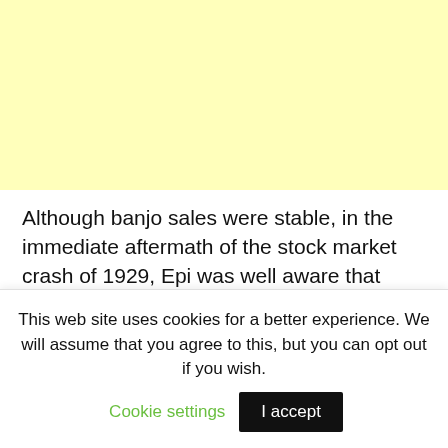[Figure (other): Yellow/cream colored advertisement banner placeholder]
Although banjo sales were stable, in the immediate aftermath of the stock market crash of 1929, Epi was well aware that archtop guitars were becoming more popular and that their main
This web site uses cookies for a better experience. We will assume that you agree to this, but you can opt out if you wish. Cookie settings  I accept